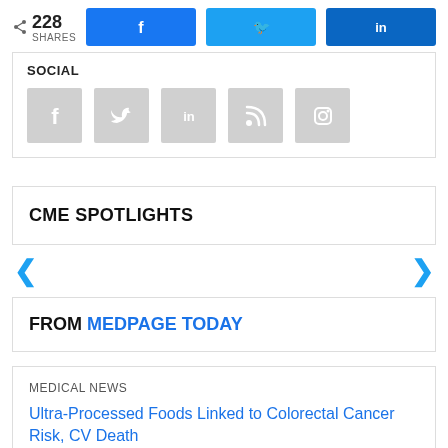[Figure (screenshot): Share bar with 228 shares count and Facebook, Twitter, LinkedIn share buttons]
[Figure (infographic): Social media follow icons: Facebook, Twitter, LinkedIn, RSS, Instagram in grey squares]
CME SPOTLIGHTS
[Figure (infographic): Left and right navigation arrows for CME Spotlights carousel]
FROM MEDPAGE TODAY
MEDICAL NEWS
Ultra-Processed Foods Linked to Colorectal Cancer Risk, CV Death